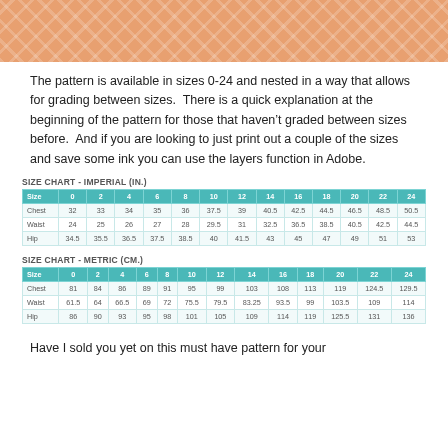[Figure (photo): Photo of a person wearing an orange/coral patterned fabric, cropped at top of page.]
The pattern is available in sizes 0-24 and nested in a way that allows for grading between sizes.  There is a quick explanation at the beginning of the pattern for those that haven't graded between sizes before.  And if you are looking to just print out a couple of the sizes and save some ink you can use the layers function in Adobe.
SIZE CHART - IMPERIAL (IN.)
| Size | 0 | 2 | 4 | 6 | 8 | 10 | 12 | 14 | 16 | 18 | 20 | 22 | 24 |
| --- | --- | --- | --- | --- | --- | --- | --- | --- | --- | --- | --- | --- | --- |
| Chest | 32 | 33 | 34 | 35 | 36 | 37.5 | 39 | 40.5 | 42.5 | 44.5 | 46.5 | 48.5 | 50.5 |
| Waist | 24 | 25 | 26 | 27 | 28 | 29.5 | 31 | 32.5 | 36.5 | 38.5 | 40.5 | 42.5 | 44.5 |
| Hip | 34.5 | 35.5 | 36.5 | 37.5 | 38.5 | 40 | 41.5 | 43 | 45 | 47 | 49 | 51 | 53 |
SIZE CHART - METRIC (CM.)
| Size | 0 | 2 | 4 | 6 | 8 | 10 | 12 | 14 | 16 | 18 | 20 | 22 | 24 |
| --- | --- | --- | --- | --- | --- | --- | --- | --- | --- | --- | --- | --- | --- |
| Chest | 81 | 84 | 86 | 89 | 91 | 95 | 99 | 103 | 108 | 113 | 119 | 124.5 | 129.5 |
| Waist | 61.5 | 64 | 66.5 | 69 | 72 | 75.5 | 79.5 | 83.25 | 93.5 | 99 | 103.5 | 109 | 114 |
| Hip | 86 | 90 | 93 | 95 | 98 | 101 | 105 | 109 | 114 | 119 | 125.5 | 131 | 136 |
Have I sold you yet on this must have pattern for your